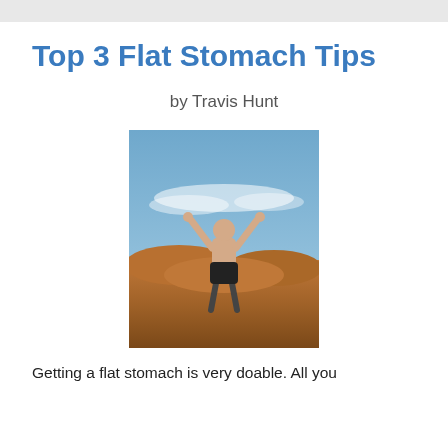Top 3 Flat Stomach Tips
by Travis Hunt
[Figure (photo): A fit shirtless man standing on red rocks with arms raised in triumph against a blue sky with white clouds]
Getting a flat stomach is very doable. All you